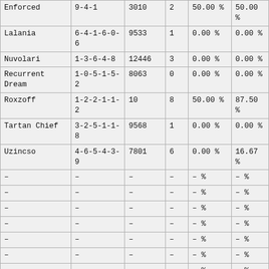| Enforced | 9-4-1 | 3010 | 2 | 50.00 % | 50.00 % |
| Lalania | 6-4-1-6-0-6 | 9533 | 1 | 0.00 % | 0.00 % |
| Nuvolari | 1-3-6-4-8 | 12446 | 3 | 0.00 % | 0.00 % |
| Recurrent Dream | 1-0-5-1-5-2 | 8063 | 0 | 0.00 % | 0.00 % |
| Roxzoff | 1-2-2-1-1-2 | 10 | 8 | 50.00 % | 87.50 % |
| Tartan Chief | 3-2-5-1-1-8 | 9568 | 1 | 0.00 % | 0.00 % |
| Uzincso | 4-6-5-4-3-9 | 7801 | 6 | 0.00 % | 16.67 % |
| – | – | – | – | – % | – % |
| – | – | – | – | – % | – % |
| – | – | – | – | – % | – % |
| – | – | – | – | – % | – % |
| – | – | – | – | – % | – % |
| – | – | – | – | – % | – % |
| – | – | – | – | – % | – % |
| – | – | – | – | – % | – % |
| – | – | – | – | – % | – % |
| – | – | – | – | – % | – % |